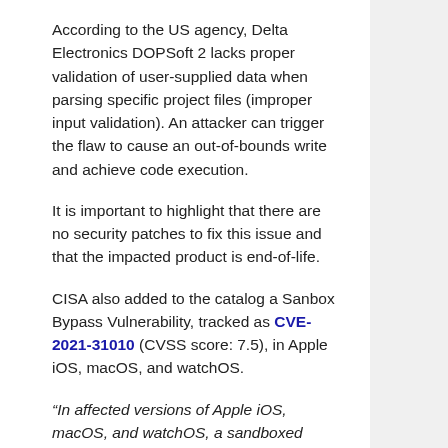According to the US agency, Delta Electronics DOPSoft 2 lacks proper validation of user-supplied data when parsing specific project files (improper input validation). An attacker can trigger the flaw to cause an out-of-bounds write and achieve code execution.
It is important to highlight that there are no security patches to fix this issue and that the impacted product is end-of-life.
CISA also added to the catalog a Sanbox Bypass Vulnerability, tracked as CVE-2021-31010 (CVSS score: 7.5), in Apple iOS, macOS, and watchOS.
“In affected versions of Apple iOS, macOS, and watchOS, a sandboxed process may be able to circumvent sandbox restrictions.” reads the advisory.
The other vulnerabilities added to the catalog are: